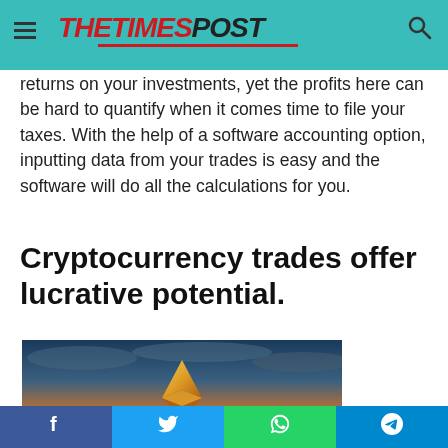THE TIMES POST
returns on your investments, yet the profits here can be hard to quantify when it comes time to file your taxes. With the help of a software accounting option, inputting data from your trades is easy and the software will do all the calculations for you.
Cryptocurrency trades offer lucrative potential.
[Figure (photo): Photo of a golden Ethereum coin/diamond shape floating above a reflective surface with a dramatic cloudy sky background in blue and orange tones]
Facebook | Twitter | WhatsApp | Telegram